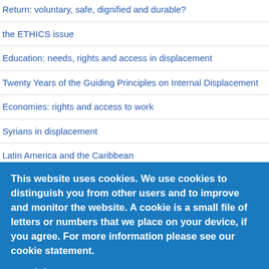Return: voluntary, safe, dignified and durable?
the ETHICS issue
Education: needs, rights and access in displacement
Twenty Years of the Guiding Principles on Internal Displacement
Economies: rights and access to work
Syrians in displacement
Latin America and the Caribbean
Shelter in displacement
This website uses cookies. We use cookies to distinguish you from other users and to improve and monitor the website. A cookie is a small file of letters or numbers that we place on your device, if you agree. For more information please see our cookie statement.
More info
OK, I agree
No, thanks